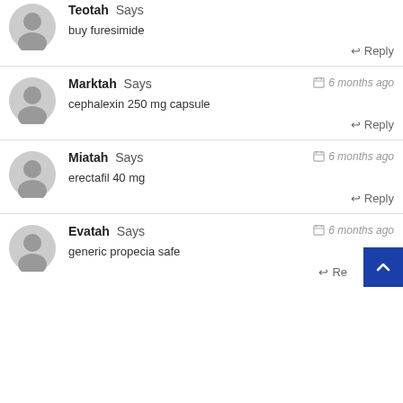buy furesimide
Reply
Marktah Says — 6 months ago
cephalexin 250 mg capsule
Reply
Miatah Says — 6 months ago
erectafil 40 mg
Reply
Evatah Says — 6 months ago
generic propecia safe
Reply